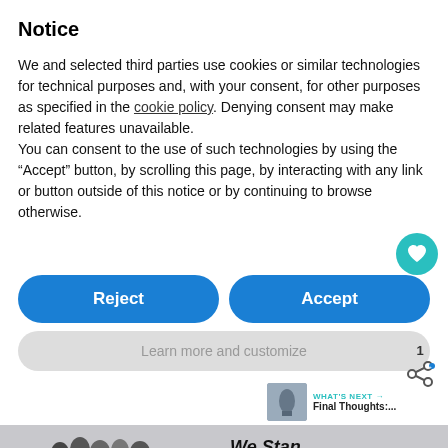Notice
We and selected third parties use cookies or similar technologies for technical purposes and, with your consent, for other purposes as specified in the cookie policy. Denying consent may make related features unavailable.
You can consent to the use of such technologies by using the “Accept” button, by scrolling this page, by interacting with any link or button outside of this notice or by continuing to browse otherwise.
[Figure (screenshot): Reject and Accept buttons (blue pill-shaped), Learn more and customize button (gray pill-shaped), heart/like button (teal circle), share icon with count 1, What's Next panel with thumbnail, banner image with 'We Stand Together' text, yellow COVID-19 vaccine ad bar at bottom]